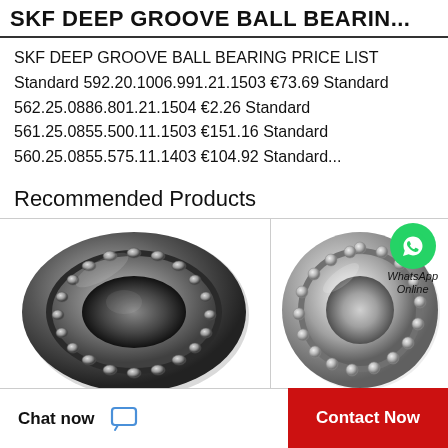SKF DEEP GROOVE BALL BEARIN...
SKF DEEP GROOVE BALL BEARING PRICE LIST Standard 592.20.1006.991.21.1503 €73.69 Standard 562.25.0886.801.21.1504 €2.26 Standard 561.25.0855.500.11.1503 €151.16 Standard 560.25.0855.575.11.1403 €104.92 Standard...
Recommended Products
[Figure (photo): SKF deep groove ball bearing – large cylindrical roller bearing with steel cage, dark metallic finish, viewed at slight angle]
[Figure (photo): SKF deep groove ball bearing – silver/chrome finish roller bearing with visible ball elements, viewed at slight angle. WhatsApp Online badge overlay.]
Chat now   Contact Now